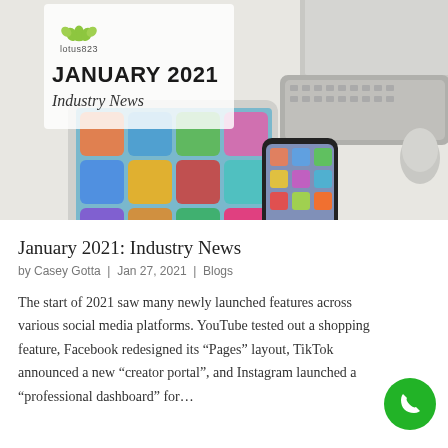[Figure (photo): Hero banner image showing a tablet, smartphone, keyboard, mouse, and monitor on a white desk surface. Overlaid with Lotus823 logo, 'JANUARY 2021' bold text, and 'Industry News' subtitle.]
January 2021: Industry News
by Casey Gotta | Jan 27, 2021 | Blogs
The start of 2021 saw many newly launched features across various social media platforms. YouTube tested out a shopping feature, Facebook redesigned its “Pages” layout, TikTok announced a new “creator portal”, and Instagram launched a “professional dashboard” for…